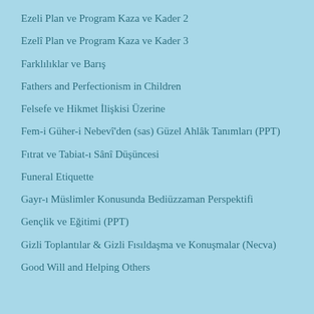Ezeli Plan ve Program Kaza ve Kader 2
Ezelî Plan ve Program Kaza ve Kader 3
Farklılıklar ve Barış
Fathers and Perfectionism in Children
Felsefe ve Hikmet İlişkisi Üzerine
Fem-i Güher-i Nebevî'den (sas) Güzel Ahlâk Tanımları (PPT)
Fıtrat ve Tabiat-ı Sânî Düşüncesi
Funeral Etiquette
Gayr-ı Müslimler Konusunda Bediüzzaman Perspektifi
Gençlik ve Eğitimi (PPT)
Gizli Toplantılar & Gizli Fısıldaşma ve Konuşmalar (Necva)
Good Will and Helping Others